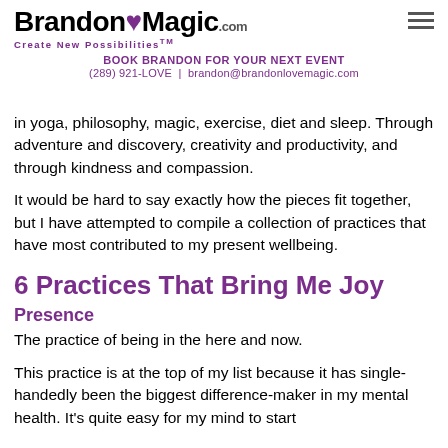BrandonLoveMagic.com — Create New Possibilities™
BOOK BRANDON FOR YOUR NEXT EVENT
(289) 921-LOVE | brandon@brandonlovemagic.com
in yoga, philosophy, magic, exercise, diet and sleep. Through adventure and discovery, creativity and productivity, and through kindness and compassion.
It would be hard to say exactly how the pieces fit together, but I have attempted to compile a collection of practices that have most contributed to my present wellbeing.
6 Practices That Bring Me Joy
Presence
The practice of being in the here and now.
This practice is at the top of my list because it has single-handedly been the biggest difference-maker in my mental health. It's quite easy for my mind to start